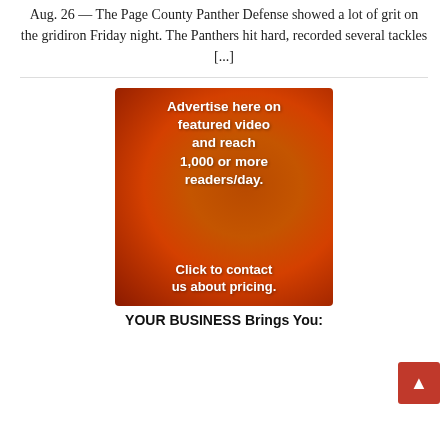Aug. 26 — The Page County Panther Defense showed a lot of grit on the gridiron Friday night. The Panthers hit hard, recorded several tackles [...]
[Figure (infographic): Orange advertisement banner with white bold text reading: 'Advertise here on featured video and reach 1,000 or more readers/day. Click to contact us about pricing.']
YOUR BUSINESS Brings You: